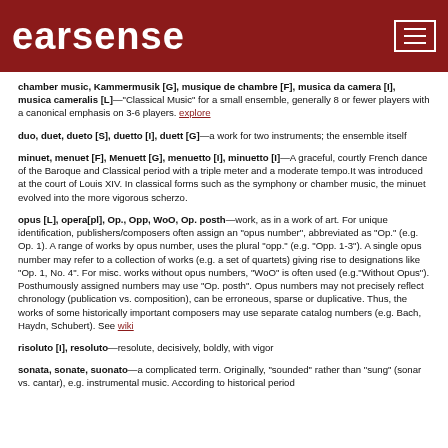earsense
chamber music, Kammermusik [G], musique de chambre [F], musica da camera [I], musica cameralis [L]—"Classical Music" for a small ensemble, generally 8 or fewer players with a canonical emphasis on 3-6 players. explore
duo, duet, dueto [S], duetto [I], duett [G]—a work for two instruments; the ensemble itself
minuet, menuet [F], Menuett [G], menuetto [I], minuetto [I]—A graceful, courtly French dance of the Baroque and Classical period with a triple meter and a moderate tempo.It was introduced at the court of Louis XIV. In classical forms such as the symphony or chamber music, the minuet evolved into the more vigorous scherzo.
opus [L], opera[pl], Op., Opp, WoO, Op. posth—work, as in a work of art. For unique identification, publishers/composers often assign an "opus number", abbreviated as "Op." (e.g. Op. 1). A range of works by opus number, uses the plural "opp." (e.g. "Opp. 1-3"). A single opus number may refer to a collection of works (e.g. a set of quartets) giving rise to designations like "Op. 1, No. 4". For misc. works without opus numbers, "WoO" is often used (e.g."Without Opus"). Posthumously assigned numbers may use "Op. posth". Opus numbers may not precisely reflect chronology (publication vs. composition), can be erroneous, sparse or duplicative. Thus, the works of some historically important composers may use separate catalog numbers (e.g. Bach, Haydn, Schubert). See wiki
risoluto [I], resoluto—resolute, decisively, boldly, with vigor
sonata, sonate, suonato—a complicated term. Originally, "sounded" rather than "sung" (sonar vs. cantar), e.g. instrumental music. According to historical period